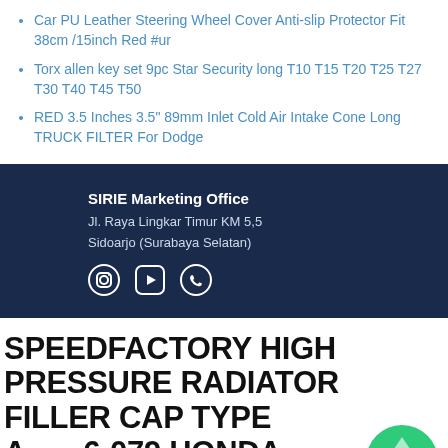Car PU Leather Steering Wheel Cover Anti-slip Protector Fit 38cm /15inch Red #ur
Torx allen key set 9pc Star Security long T10 T15 T20 T25 T27 T30 T40 T45 T50
RED 3.5 Inches 3.5" 89mm Inlet Cold Air Intake Cone Long TRUCK FILTER For Dodge
SIRIE Marketing Office
Jl. Raya Lingkar Timur KM 5,5
Sidoarjo (Surabaya Selatan)
SPEEDFACTORY HIGH PRESSURE RADIATOR FILLER CAP TYPE A 6-079 HONDA CIVIC CRX